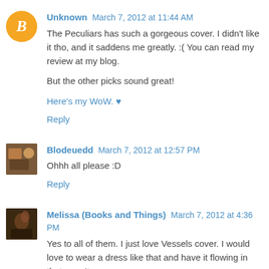[Figure (photo): Blogger orange circle avatar with white B logo for user Unknown]
Unknown March 7, 2012 at 11:44 AM
The Peculiars has such a gorgeous cover. I didn't like it tho, and it saddens me greatly. :( You can read my review at my blog.

But the other picks sound great!

Here's my WoW. ♥
Reply
[Figure (photo): Small photo avatar of Blodeuedd]
Blodeuedd March 7, 2012 at 12:57 PM
Ohhh all please :D
Reply
[Figure (photo): Small photo avatar of Melissa (Books and Things)]
Melissa (Books and Things) March 7, 2012 at 4:36 PM
Yes to all of them. I just love Vessels cover. I would love to wear a dress like that and have it flowing in that way. It